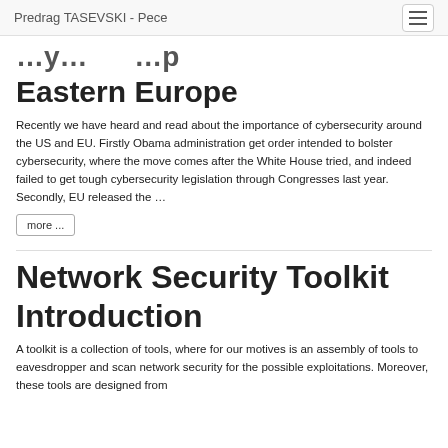Predrag TASEVSKI - Pece
Eastern Europe
Recently we have heard and read about the importance of cybersecurity around the US and EU. Firstly Obama administration get order intended to bolster cybersecurity, where the move comes after the White House tried, and indeed failed to get tough cybersecurity legislation through Congresses last year. Secondly, EU released the …
more ...
Network Security Toolkit
Introduction
A toolkit is a collection of tools, where for our motives is an assembly of tools to eavesdropper and scan network security for the possible exploitations. Moreover, these tools are designed from